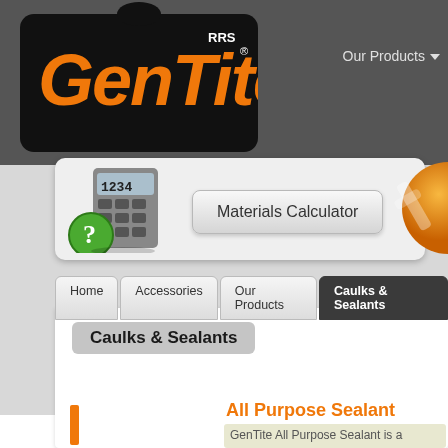[Figure (screenshot): GenTite RRS logo on dark scroll/banner in website header]
Our Products
[Figure (screenshot): Materials Calculator button with calculator and question mark icon]
[Figure (screenshot): Orange tools icon partially visible on right]
Home | Accessories | Our Products | Caulks & Sealants
Caulks & Sealants
All Purpose Sealant
GenTite All Purpose Sealant is a...